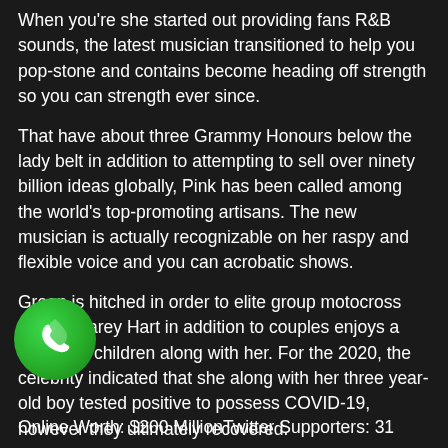When you're she started out providing fans R&B sounds, the latest musician transitioned to help you pop-stone and contains become heading off strength so you can strength ever since.
That have about three Grammy Honours below the lady belt in addition to attempting to sell over ninety billion ideas globally, Pink has been called among the world's top-promoting artisans. The new musician is actually recognizable on her raspy and flexible voice and you can acrobatic shows.
Green is hitched in order to elite group motocross racing, Carey Hart in addition to couples enjoys a couple of children along with her. For the 2020, the celebrity indicated that she along with her three year-old boy tested positive to possess COVID-19, however they ultimately recovered.
[Figure (logo): WhatsApp green circular button icon]
Online Worth: $200 MillionTwitter Supporters: 31